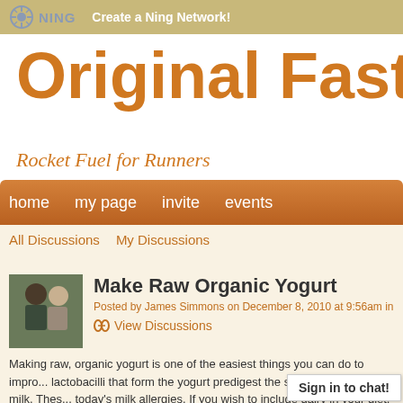NING  Create a Ning Network!
Original Fast Foo
Rocket Fuel for Runners
home   my page   invite   events
All Discussions   My Discussions
Make Raw Organic Yogurt
Posted by James Simmons on December 8, 2010 at 9:56am in
View Discussions
Making raw, organic yogurt is one of the easiest things you can do to impro... lactobacilli that form the yogurt predigest the sugars found in the milk. Thes... today's milk allergies. If you wish to include dairy in your diet, then learn to r... drink milk, you are better off drinking goat or sheep milk, which is far easier... to how your body reacts to dairy products.
Sign in to chat!